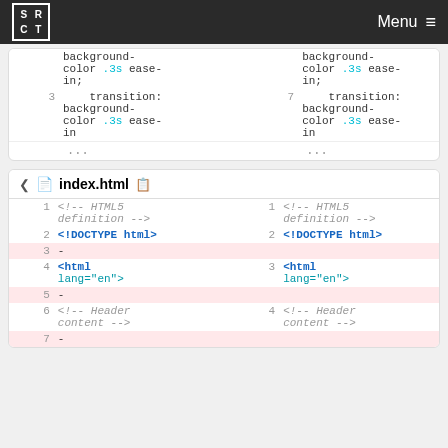SRCT | Menu
[Figure (screenshot): Code diff panel showing CSS transition: background-color .3s ease-in on lines 3 and 7]
[Figure (screenshot): Code diff panel for index.html showing HTML5 definition comment, DOCTYPE html, empty lines (deleted), html lang=en tag, Header content comment]